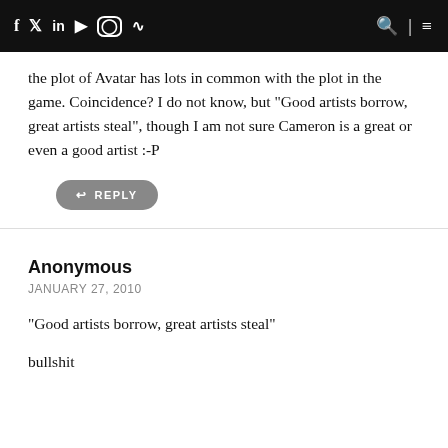f  Twitter  in  YouTube  Instagram  RSS  [search]  [menu]
the plot of Avatar has lots in common with the plot in the game. Coincidence? I do not know, but "Good artists borrow, great artists steal", though I am not sure Cameron is a great or even a good artist :-P
↩ REPLY
Anonymous
JANUARY 27, 2010
"Good artists borrow, great artists steal"
bullshit